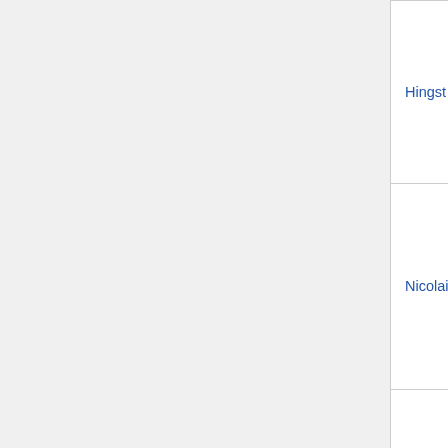| Reference | Year | Authors/Description |
| --- | --- | --- |
| Hingst 2020 Mol Metab | 2020 | MR... C, H... M, Y... Pile... Ind... that... disp... oxid... |
| Nicolaisen 2020 FASEB J | 2020 | Nico... Inge... Fro... F, G... Cle... ske... in e... |
| Mendham 2020 Sci Rep | 2020 | Men... Kev... Mel... Lou... Exe... |